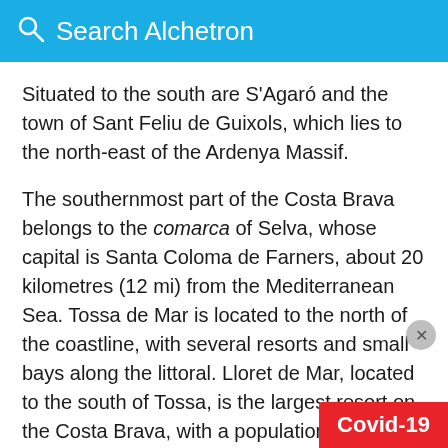Search Alchetron
Situated to the south are S'Agaró and the town of Sant Feliu de Guixols, which lies to the north-east of the Ardenya Massif.
The southernmost part of the Costa Brava belongs to the comarca of Selva, whose capital is Santa Coloma de Farners, about 20 kilometres (12 mi) from the Mediterranean Sea. Tossa de Mar is located to the north of the coastline, with several resorts and small bays along the littoral. Lloret de Mar, located to the south of Tossa, is the largest resort on the Costa Brava, with a population of over 200,000 at its peak during the summer. Blanes is the southernmost town on the Costa Brava